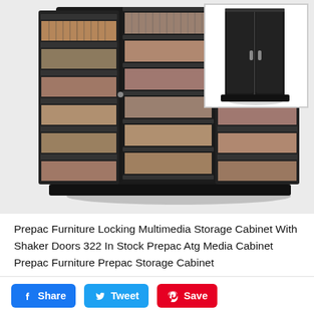[Figure (photo): Two views of a Prepac Furniture Locking Multimedia Storage Cabinet with Shaker Doors: main image shows the cabinet open with doors spread wide, filled with many CDs/DVDs on multiple shelves; thumbnail in top right shows the cabinet closed, dark espresso finish.]
Prepac Furniture Locking Multimedia Storage Cabinet With Shaker Doors 322 In Stock Prepac Atg Media Cabinet Prepac Furniture Prepac Storage Cabinet
Share   Tweet   Save